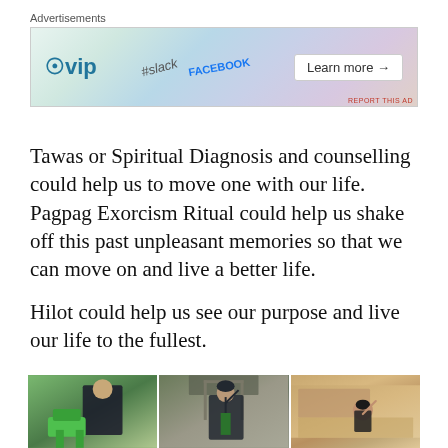[Figure (other): WordPress VIP advertisement banner with Slack and Facebook logos and a 'Learn more →' button]
Tawas or Spiritual Diagnosis and counselling could help us to move one with our life. Pagpag Exorcism Ritual could help us shake off this past unpleasant memories so that we can move on and live a better life.
Hilot could help us see our purpose and live our life to the fullest.
[Figure (photo): Three side-by-side photos showing people in outdoor and indoor settings, including a healing session scene]